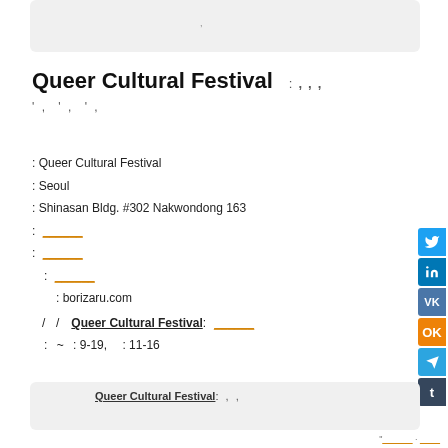[Figure (other): Gray rounded box at top of page with small Korean text]
Queer Cultural Festival : , , ,
' , ' , ' ,
: Queer Cultural Festival
: Seoul
: Shinasan Bldg. #302 Nakwondong 163
: [link]
: [link]
  : [link]
     : borizaru.com
   /   /   Queer Cultural Festival: [link]
   :   ~   : 9-19,   : 11-16
[Figure (other): Gray rounded box at bottom with underlined text: Queer Cultural Festival: and Korean commas]
" [link] · [link]